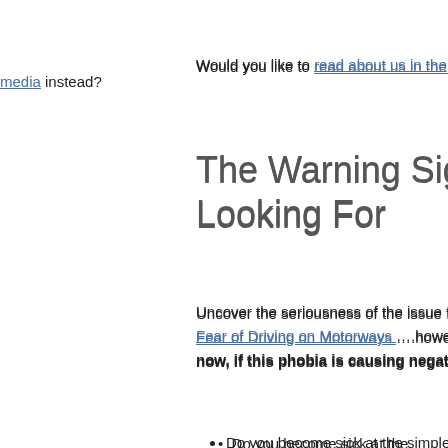Would you like to read about us in the media instead?
The Warning Signs You Should be Looking For
Uncover the seriousness of the issue for you by using our 2 min Fear of Driving on Motorways ….however it's pretty obvious: The now, if this phobia is causing negativity in your life.
Do you become sick at the simple thought of Driving?
Does your mouth go dry and your palms get sweaty?
Does your heart begin to race?
Do your legs go weak?
These are just a few examples of symptoms people can experience. understand more about the symptoms of Fear Of Driving On Mo here.
We address the symptoms, but we uncover the source, to elimin